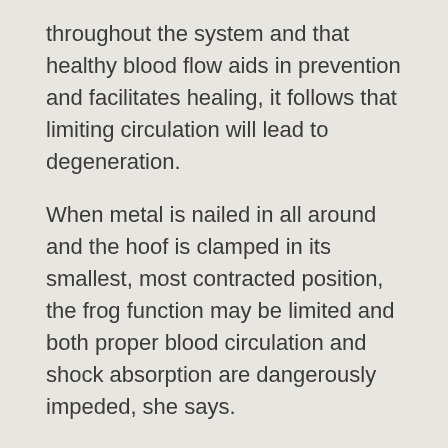throughout the system and that healthy blood flow aids in prevention and facilitates healing, it follows that limiting circulation will lead to degeneration.
When metal is nailed in all around and the hoof is clamped in its smallest, most contracted position, the frog function may be limited and both proper blood circulation and shock absorption are dangerously impeded, she says.
Also, she adds, if you take a metal shoe and bang it against a hard surface, you will feel the tremors vibrate up your arm. In fact, even the nails cause vibration, which will compromise the integrity and break down hoof structure. Also, if you think that metal shoes provide protection, please consider that the outside walls of the hoof are already hard and that it is the softer middle sole area which needs